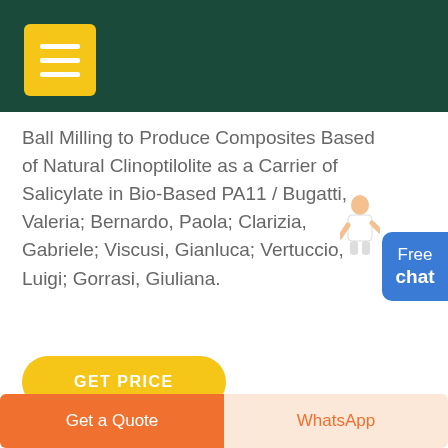Ball Milling to Produce Composites Based of Natural Clinoptilolite as a Carrier of Salicylate in Bio-Based PA11 / Bugatti, Valeria; Bernardo, Paola; Clarizia, Gabriele; Viscusi, Gianluca; Vertuccio, Luigi; Gorrasi, Giuliana.
GET PRICE
Free chat
Get a Quote
WhatsApp